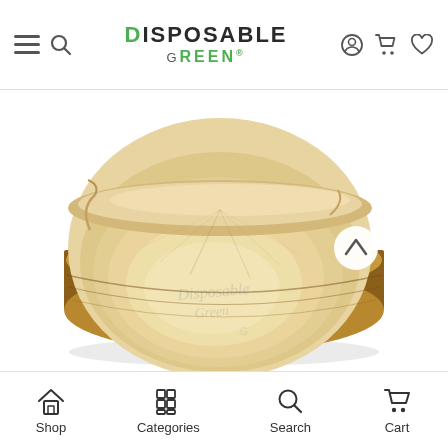Disposable Green® — navigation bar with menu, search, account, cart, wishlist icons
[Figure (photo): Areca palm leaf round bowl — a natural eco-friendly disposable round bowl made from areca palm leaves, showing a beige/cream interior and brown exterior with natural leaf texture, photographed at an angle on white background. Watermark 'Disposable Green' visible on bowl.]
Shop | Categories | Search | Cart — bottom navigation bar